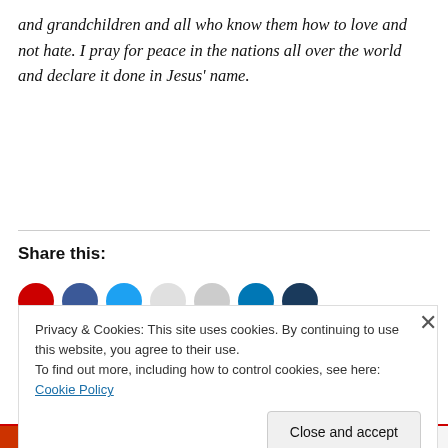and grandchildren and all who know them how to love and not hate. I pray for peace in the nations all over the world and declare it done in Jesus’ name.
Share this:
[Figure (other): Row of social share icon circles: red, blue, light blue, light gray, gray, LinkedIn blue, navy]
Privacy & Cookies: This site uses cookies. By continuing to use this website, you agree to their use.
To find out more, including how to control cookies, see here: Cookie Policy
Close and accept